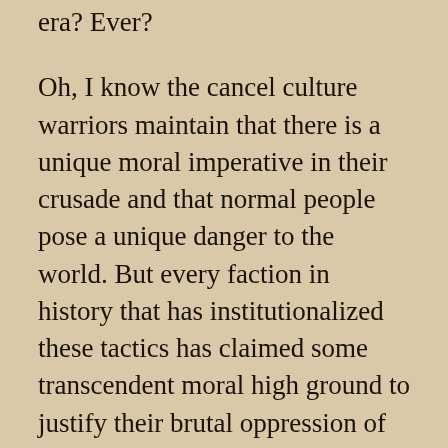era? Ever?
Oh, I know the cancel culture warriors maintain that there is a unique moral imperative in their crusade and that normal people pose a unique danger to the world. But every faction in history that has institutionalized these tactics has claimed some transcendent moral high ground to justify their brutal oppression of opponents. Sometimes the opponents were almost as brutal as the oppressors, sometimes they were almost entirely innocent. Equally consistent is that all oppressors claim that they are the real victims of the people they oppress – and their brutalized prey are actually the aggressors. Even that icon of